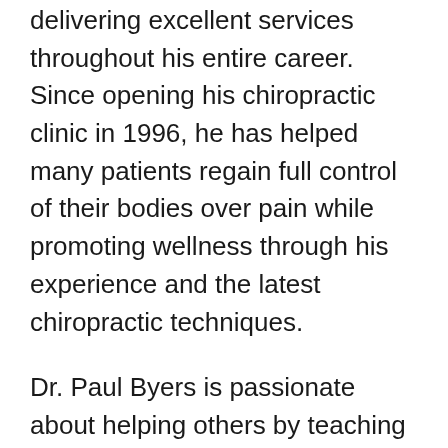delivering excellent services throughout his entire career. Since opening his chiropractic clinic in 1996, he has helped many patients regain full control of their bodies over pain while promoting wellness through his experience and the latest chiropractic techniques.
Dr. Paul Byers is passionate about helping others by teaching them how their body works and how to live naturally. His passion, professionalism, and commitment to promoting health and wellness are evident in his practice and in how he addresses his patients. He has also put together a team of experienced and well-trained staff who deliver personalized services to patients while maintaining the gold standard of customer service and satisfaction.